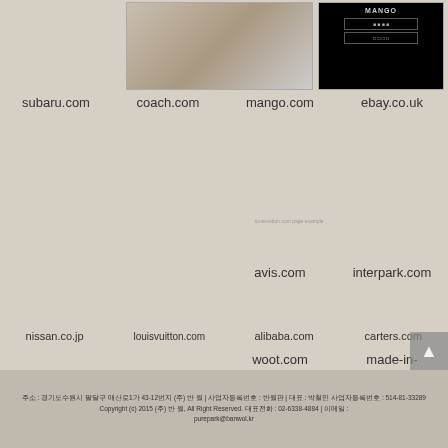[Figure (screenshot): Website screenshot thumbnails: coach.com and ebay.co.uk]
subaru.com    coach.com    mango.com    ebay.co.uk
[Figure (screenshot): Website screenshot thumbnail: nissan.co.jp]
avis.com    interpark.com
nissan.co.jp    louisvuitton.com    alibaba.com    carters.com
woot.com    made-in-china.com
주소 : 경기도수원시 팔달구 매산로1가 43-12번지 (주) 반 월 | 사업자등록번호 : 반월판 | 대표 : 박철민 사업자등록번호 : 514-81-33289 Copyright (c) 2015 (주) 반 월, All Right Reserved. 대표전화 : 02-6338-4884 | 이메일 : purepark@banwol.kr